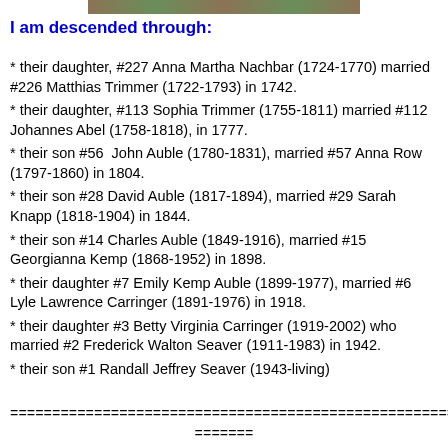[Figure (photo): Partial photo strip at top of page]
I am descended through:
their daughter, #227 Anna Martha Nachbar (1724-1770) married #226 Matthias Trimmer (1722-1793) in 1742.
their daughter, #113 Sophia Trimmer (1755-1811) married #112 Johannes Abel (1758-1818), in 1777.
their son #56  John Auble (1780-1831), married #57 Anna Row (1797-1860) in 1804.
their son #28 David Auble (1817-1894), married #29 Sarah Knapp (1818-1904) in 1844.
their son #14 Charles Auble (1849-1916), married #15 Georgianna Kemp (1868-1952) in 1898.
their daughter #7 Emily Kemp Auble (1899-1977), married #6 Lyle Lawrence Carringer (1891-1976) in 1918.
their daughter #3 Betty Virginia Carringer (1919-2002) who married #2 Frederick Walton Seaver (1911-1983) in 1942.
their son #1 Randall Jeffrey Seaver (1943-living)
=======================================================
=======